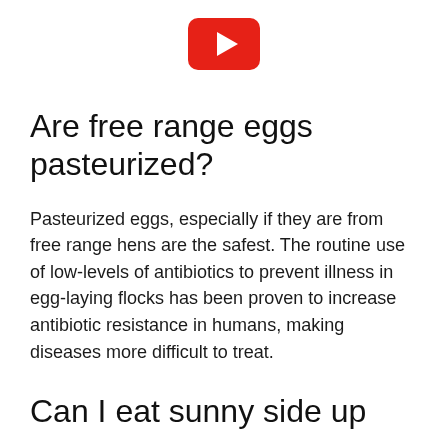[Figure (logo): YouTube logo icon — red rounded rectangle with white play triangle]
Are free range eggs pasteurized?
Pasteurized eggs, especially if they are from free range hens are the safest. The routine use of low-levels of antibiotics to prevent illness in egg-laying flocks has been proven to increase antibiotic resistance in humans, making diseases more difficult to treat.
Can I eat sunny side up